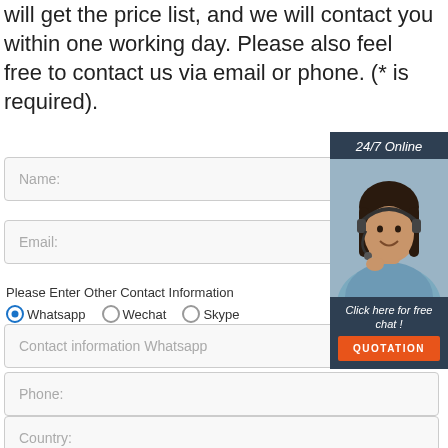will get the price list, and we will contact you within one working day. Please also feel free to contact us via email or phone. (* is required).
Name:
Email:
Please Enter Other Contact Information
Whatsapp  Wechat  Skype
Contact information Whatsapp
24/7 Online
Click here for free chat !
QUOTATION
Phone:
Country: